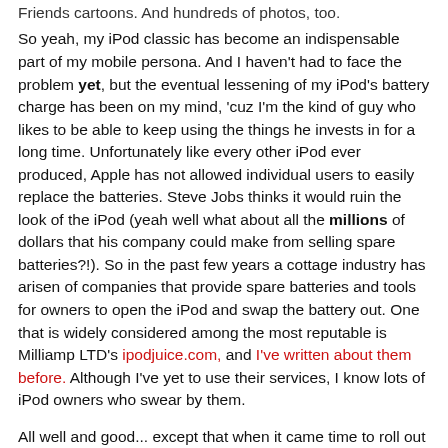Friends cartoons. And hundreds of photos, too.
So yeah, my iPod classic has become an indispensable part of my mobile persona. And I haven't had to face the problem yet, but the eventual lessening of my iPod's battery charge has been on my mind, 'cuz I'm the kind of guy who likes to be able to keep using the things he invests in for a long time. Unfortunately like every other iPod ever produced, Apple has not allowed individual users to easily replace the batteries. Steve Jobs thinks it would ruin the look of the iPod (yeah well what about all the millions of dollars that his company could make from selling spare batteries?!). So in the past few years a cottage industry has arisen of companies that provide spare batteries and tools for owners to open the iPod and swap the battery out. One that is widely considered among the most reputable is Milliamp LTD's ipodjuice.com, and I've written about them before. Although I've yet to use their services, I know lots of iPod owners who swear by them.
All well and good... except that when it came time to roll out the iPod classic, Apple made it much harder to remove the case and replace the battery without severely damaging the iPod! Previous iPods could be easily opened with ipodjuice.com's iOpener tool. But the iPod classic's harsh internal locks chew up and spit out the plastic iOpener when its use is attempted.
It took them several months, but ipodjuice.com now has a way to